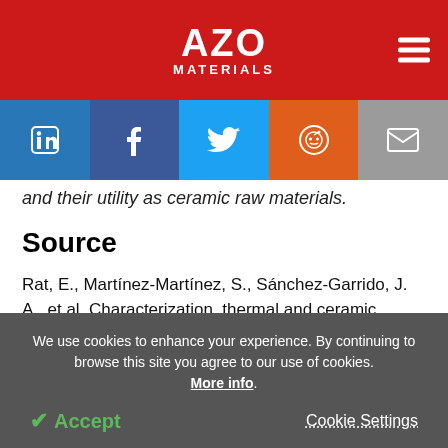AZO MATERIALS
[Figure (other): Social media share buttons: LinkedIn, Facebook, Twitter, Reddit, Email]
and their utility as ceramic raw materials.
Source
Rat, E., Martínez-Martínez, S., Sánchez-Garrido, J. A., et al. Characterization, thermal and ceramic properties of clays from Alhabia (Almería, Spain). Ceramics
We use cookies to enhance your experience. By continuing to browse this site you agree to our use of cookies. More info.
✓ Accept   Cookie Settings